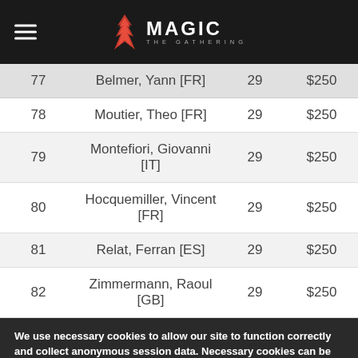Magic: The Gathering
| Rank | Name | Points | Prize |
| --- | --- | --- | --- |
| 77 | Belmer, Yann [FR] | 29 | $250 |
| 78 | Moutier, Theo [FR] | 29 | $250 |
| 79 | Montefiori, Giovanni [IT] | 29 | $250 |
| 80 | Hocquemiller, Vincent [FR] | 29 | $250 |
| 81 | Relat, Ferran [ES] | 29 | $250 |
| 82 | Zimmermann, Raoul [GB] | 29 | $250 |
We use necessary cookies to allow our site to function correctly and collect anonymous session data. Necessary cookies can be opted out through your browser settings. We also use optional cookies to personalize content and ads, provide social medial features and analyze web traffic. By clicking “OK, I agree,” you consent to optional cookies. (Learn more about cookies.)